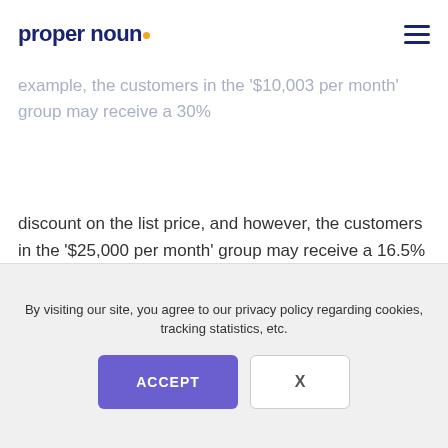proper noun
You could then offer different wholesale pricing to encourage larger orders from your customers. For example, the customers in the '$10,003 per month' group may receive a 30% discount on the list price, and however, the customers in the '$25,000 per month' group may receive a 16.5% discount on the list price. These types of pricing structures incentivize your customers to buy more and consolidate their buying with your business.

Another effective strategy is offering product-specific pricing to your customers. For example, a
By visiting our site, you agree to our privacy policy regarding cookies, tracking statistics, etc.